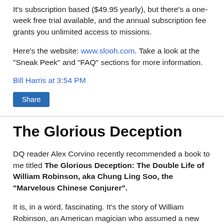It's subscription based ($49.95 yearly), but there's a one-week free trial available, and the annual subscription fee grants you unlimited access to missions.
Here's the website: www.slooh.com. Take a look at the "Sneak Peek" and "FAQ" sections for more information.
Bill Harris at 3:54 PM
Share
The Glorious Deception
DQ reader Alex Corvino recently recommended a book to me titled The Glorious Deception: The Double Life of William Robinson, aka Chung Ling Soo, the "Marvelous Chinese Conjurer".
It is, in a word, fascinating. It's the story of William Robinson, an American magician who assumed a new personae as the